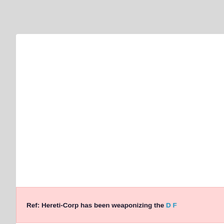Ref: Hereti-Corp has been weaponizing the D F…